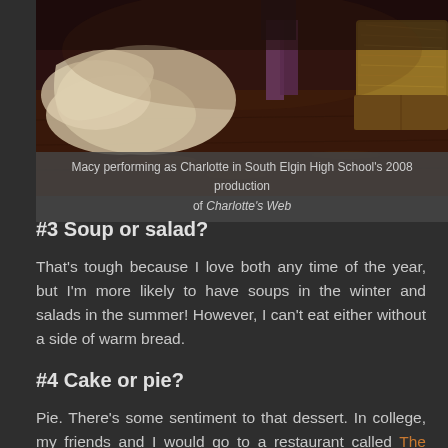[Figure (photo): Stage photo of Macy performing as Charlotte in South Elgin High School's 2008 production of Charlotte's Web. Dark stage with performers, white fabric on floor, hay bale visible on right.]
Macy performing as Charlotte in South Elgin High School's 2008 production of Charlotte's Web
#3 Soup or salad?
That's tough because I love both any time of the year, but I'm more likely to have soups in the winter and salads in the summer! However, I can't eat either without a side of warm bread.
#4 Cake or pie?
Pie. There's some sentiment to that dessert. In college, my friends and I would go to a restaurant called The Village